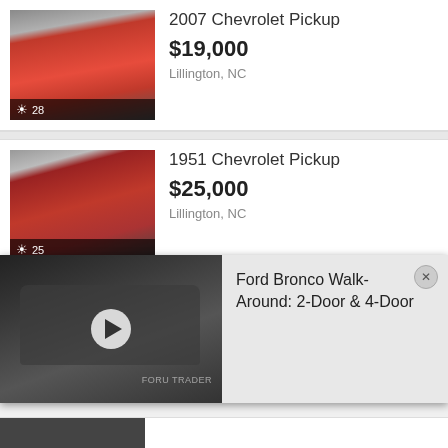[Figure (photo): Red 2007 Chevrolet pickup truck in showroom on checkered floor, photo count badge showing 28]
2007 Chevrolet Pickup
$19,000
Lillington, NC
[Figure (photo): Red 1951 Chevrolet pickup truck in showroom on checkered floor, photo count badge showing 25]
1951 Chevrolet Pickup
$25,000
Lillington, NC
[Figure (photo): Ford Bronco video thumbnail with play button, video popup overlay showing 'Ford Bronco Walk-Around: 2-Door & 4-Door']
Ford Bronco Walk-Around: 2-Door & 4-Door
Charlotte, NC
[Figure (photo): Charlotte Showroom thumbnail with photo count badge showing 25]
[Figure (photo): Partially visible vehicle thumbnail at bottom]